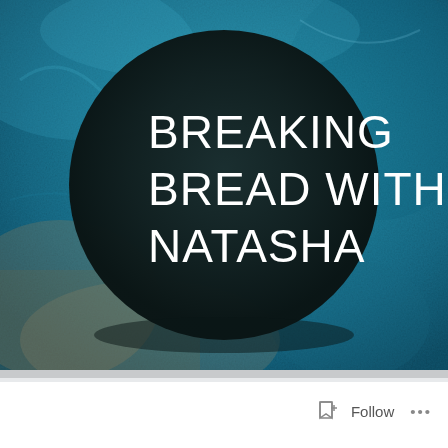[Figure (illustration): Book or podcast cover image with a teal/blue textured background and a large dark circular shape in the center containing white text reading BREAKING BREAD WITH NATASHA]
BREAKING BREAD WITH NATASHA
[Figure (screenshot): Bottom UI bar with Follow button and ellipsis menu on white background with light gray separator]